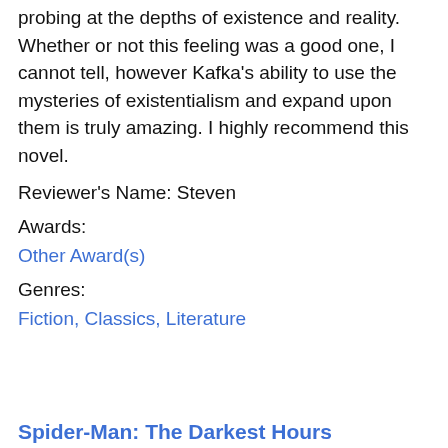probing at the depths of existence and reality. Whether or not this feeling was a good one, I cannot tell, however Kafka's ability to use the mysteries of existentialism and expand upon them is truly amazing. I highly recommend this novel.
Reviewer's Name: Steven
Awards:
Other Award(s)
Genres:
Fiction, Classics, Literature
Spider-Man: The Darkest Hours